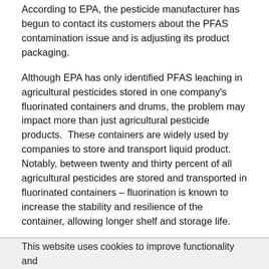According to EPA, the pesticide manufacturer has begun to contact its customers about the PFAS contamination issue and is adjusting its product packaging.
Although EPA has only identified PFAS leaching in agricultural pesticides stored in one company's fluorinated containers and drums, the problem may impact more than just agricultural pesticide products.  These containers are widely used by companies to store and transport liquid product.  Notably, between twenty and thirty percent of all agricultural pesticides are stored and transported in fluorinated containers – fluorination is known to increase the stability and resilience of the container, allowing longer shelf and storage life.
This development is illustrative of the growing role of citizen science at EPA.  For example, PEER continues to
This website uses cookies to improve functionality and